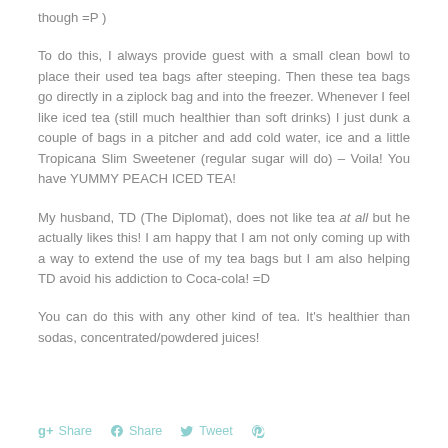though =P )
To do this, I always provide guest with a small clean bowl to place their used tea bags after steeping. Then these tea bags go directly in a ziplock bag and into the freezer. Whenever I feel like iced tea (still much healthier than soft drinks) I just dunk a couple of bags in a pitcher and add cold water, ice and a little Tropicana Slim Sweetener (regular sugar will do) – Voila! You have YUMMY PEACH ICED TEA!
My husband, TD (The Diplomat), does not like tea at all but he actually likes this! I am happy that I am not only coming up with a way to extend the use of my tea bags but I am also helping TD avoid his addiction to Coca-cola! =D
You can do this with any other kind of tea. It's healthier than sodas, concentrated/powdered juices!
Share  Share  Tweet  [Pinterest]